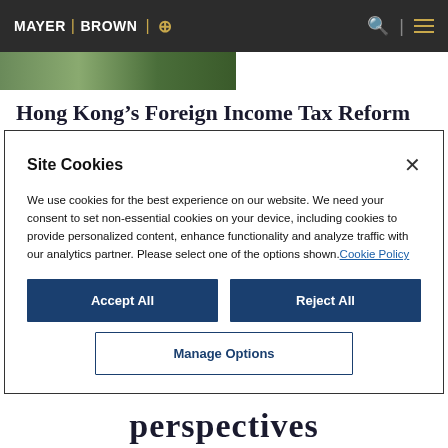MAYER | BROWN
[Figure (photo): Partial hero image showing greenery/trees]
Hong Kong’s Foreign Income Tax Reform
Site Cookies
We use cookies for the best experience on our website. We need your consent to set non-essential cookies on your device, including cookies to provide personalized content, enhance functionality and analyze traffic with our analytics partner. Please select one of the options shown. Cookie Policy
Accept All
Reject All
Manage Options
perspectives